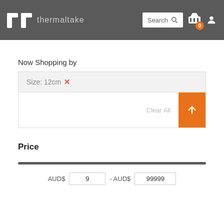[Figure (screenshot): Thermaltake website header with logo, search box, cart icon with badge showing 0, and user icon on dark grey background]
Now Shopping by
Size: 12cm ✕
Clear All
Price
AUD$ 9 - AUD$ 99999